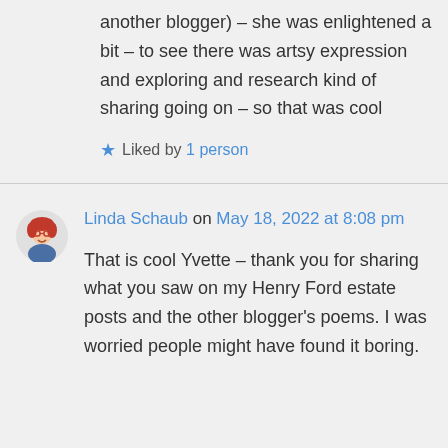another blogger) – she was enlightened a bit – to see there was artsy expression and exploring and research kind of sharing going on – so that was cool
Liked by 1 person
Linda Schaub on May 18, 2022 at 8:08 pm
That is cool Yvette – thank you for sharing what you saw on my Henry Ford estate posts and the other blogger's poems. I was worried people might have found it boring.